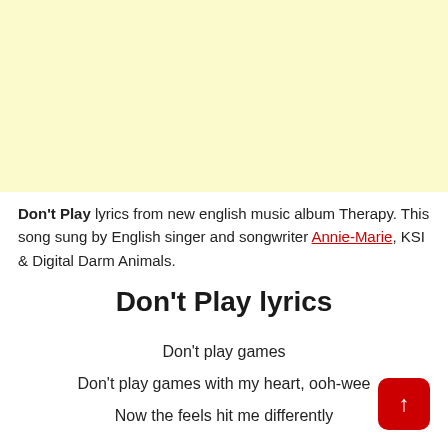[Figure (other): Yellow/cream colored advertisement banner placeholder]
Don't Play lyrics from new english music album Therapy. This song sung by English singer and songwriter Annie-Marie, KSI & Digital Darm Animals.
Don't Play lyrics
Don't play games
Don't play games with my heart, ooh-wee
Now the feels hit me differently